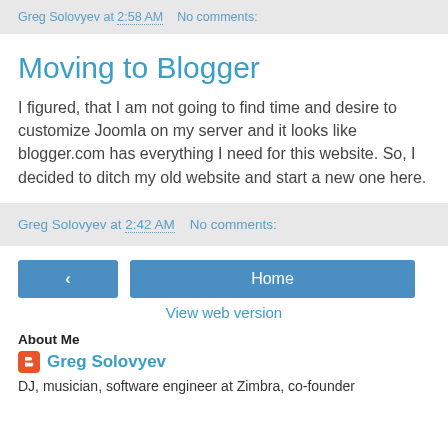Greg Solovyev at 2:58 AM   No comments:
Moving to Blogger
I figured, that I am not going to find time and desire to customize Joomla on my server and it looks like blogger.com has everything I need for this website. So, I decided to ditch my old website and start a new one here.
Greg Solovyev at 2:42 AM   No comments:
‹   Home   View web version
About Me
Greg Solovyev
DJ, musician, software engineer at Zimbra, co-founder